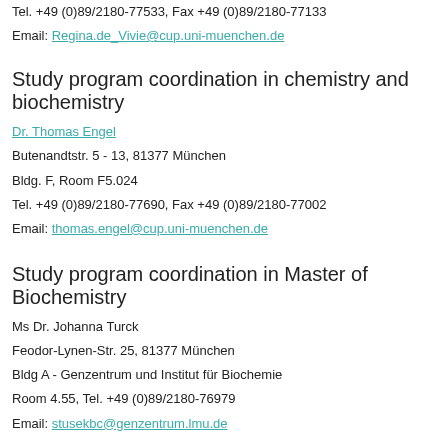Tel. +49 (0)89/2180-77533, Fax +49 (0)89/2180-77133
Email: Regina.de_Vivie@cup.uni-muenchen.de
Study program coordination in chemistry and biochemistry
Dr. Thomas Engel
Butenandtstr. 5 - 13, 81377 München
Bldg. F, Room F5.024
Tel. +49 (0)89/2180-77690, Fax +49 (0)89/2180-77002
Email: thomas.engel@cup.uni-muenchen.de
Study program coordination in Master of Biochemistry
Ms Dr. Johanna Turck
Feodor-Lynen-Str. 25, 81377 München
Bldg A - Genzentrum und Institut für Biochemie
Room 4.55, Tel. +49 (0)89/2180-76979
Email: stusekbc@genzentrum.lmu.de
Examination Office